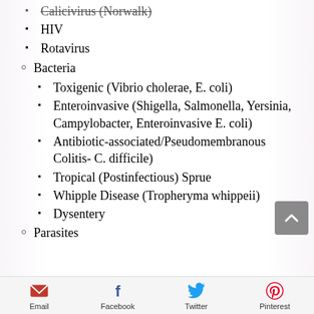Calicivirus (Norwalk)
HIV
Rotavirus
Bacteria
Toxigenic (Vibrio cholerae, E. coli)
Enteroinvasive (Shigella, Salmonella, Yersinia, Campylobacter, Enteroinvasive E. coli)
Antibiotic-associated/Pseudomembranous Colitis- C. difficile)
Tropical (Postinfectious) Sprue
Whipple Disease (Tropheryma whippeii)
Dysentery
Parasites